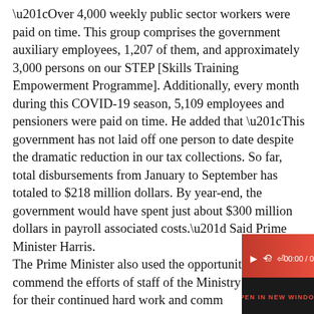“Over 4,000 weekly public sector workers were paid on time. This group comprises the government auxiliary employees, 1,207 of them, and approximately 3,000 persons on our STEP [Skills Training Empowerment Programme]. Additionally, every month during this COVID-19 season, 5,109 employees and pensioners were paid on time. He added that “This government has not laid off one person to date despite the dramatic reduction in our tax collections. So far, total disbursements from January to September has totaled to $218 million dollars. By year-end, the government would have spent just about $300 million dollars in payroll associated costs.” Said Prime Minister Harris. The Prime Minister also used the opportunity to commend the efforts of staff of the Ministry of Finance for their continued hard work and comm…
[Figure (other): Audio media player widget with red gradient background showing play button, rewind 10s button, volume icon, and time display 00:00 / 00:00, with a black bar below showing OPEN IN NEW WINDOW in red text]